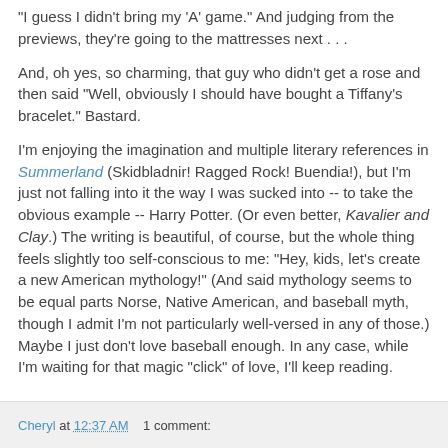"I guess I didn't bring my 'A' game." And judging from the previews, they're going to the mattresses next . . .
And, oh yes, so charming, that guy who didn't get a rose and then said "Well, obviously I should have bought a Tiffany's bracelet." Bastard.
I'm enjoying the imagination and multiple literary references in Summerland (Skidbladnir! Ragged Rock! Buendia!), but I'm just not falling into it the way I was sucked into -- to take the obvious example -- Harry Potter. (Or even better, Kavalier and Clay.) The writing is beautiful, of course, but the whole thing feels slightly too self-conscious to me: "Hey, kids, let's create a new American mythology!" (And said mythology seems to be equal parts Norse, Native American, and baseball myth, though I admit I'm not particularly well-versed in any of those.) Maybe I just don't love baseball enough. In any case, while I'm waiting for that magic "click" of love, I'll keep reading.
Cheryl at 12:37 AM    1 comment: